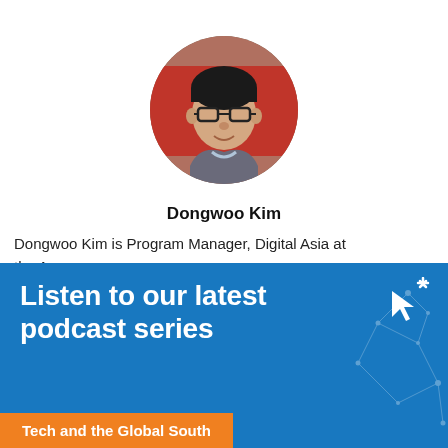[Figure (photo): Circular headshot photo of Dongwoo Kim, a man wearing glasses and a grey blazer, with a red background]
Dongwoo Kim
Dongwoo Kim is Program Manager, Digital Asia at the A... work... their... enga... and t...
[Figure (infographic): Blue banner advertisement reading 'Listen to our latest podcast series' with network graphic and cursor icon, and orange sub-banner 'Tech and the Global South']